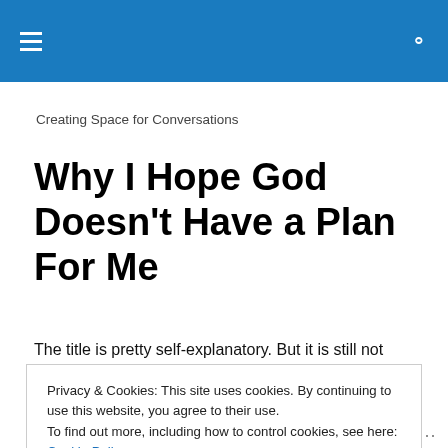Creating Space for Conversations
Why I Hope God Doesn’t Have a Plan For Me
The title is pretty self-explanatory. But it is still not
Privacy & Cookies: This site uses cookies. By continuing to use this website, you agree to their use.
To find out more, including how to control cookies, see here: Cookie Policy
Close and accept
Follow